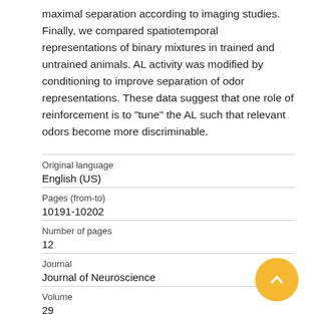maximal separation according to imaging studies. Finally, we compared spatiotemporal representations of binary mixtures in trained and untrained animals. AL activity was modified by conditioning to improve separation of odor representations. These data suggest that one role of reinforcement is to "tune" the AL such that relevant odors become more discriminable.
| Original language |  |
| English (US) |  |
| Pages (from-to) |  |
| 10191-10202 |  |
| Number of pages |  |
| 12 |  |
| Journal |  |
| Journal of Neuroscience |  |
| Volume |  |
| 29 |  |